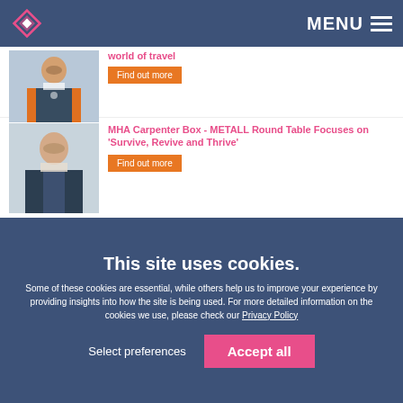MENU
world of travel
Find out more
MHA Carpenter Box - METALL Round Table Focuses on ‘Survive, Revive and Thrive’
Find out more
GATCOM Newsletter - 26.06.20
Find out more
This site uses cookies.
Some of these cookies are essential, while others help us to improve your experience by providing insights into how the site is being used. For more detailed information on the cookies we use, please check our Privacy Policy
Select preferences
Accept all